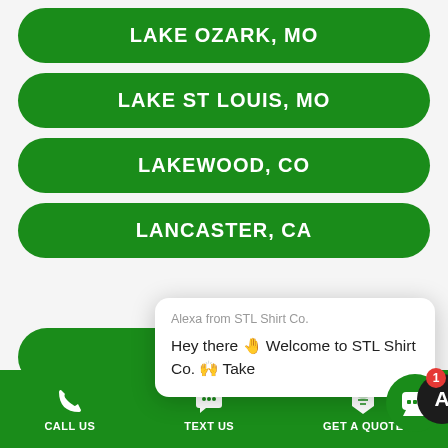LAKE OZARK, MO
LAKE ST LOUIS, MO
LAKEWOOD, CO
LANCASTER, CA
LANS[BURG, MI] (partially obscured)
L[APEER, MI] (partially obscured)
LAS VEGAS. NV
Alexa from STL Shirt Co.
Hey there 👋 Welcome to STL Shirt Co. 🙌 Take
CALL US   TEXT US   GET A QUOTE